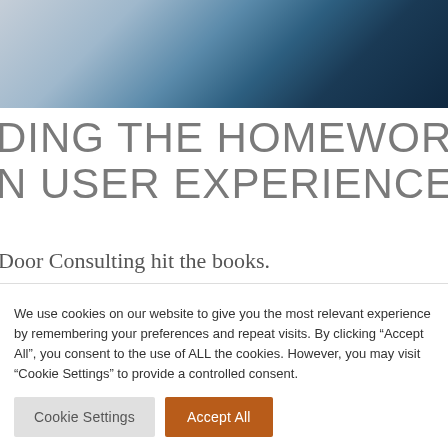[Figure (photo): Partial photo of a person using a laptop or tablet, showing hands and device, with blue and grey tones — cropped at top of page]
DING THE HOMEWORK
N USER EXPERIENCE
Door Consulting hit the books.
We use cookies on our website to give you the most relevant experience by remembering your preferences and repeat visits. By clicking “Accept All”, you consent to the use of ALL the cookies. However, you may visit “Cookie Settings” to provide a controlled consent.
Cookie Settings | Accept All